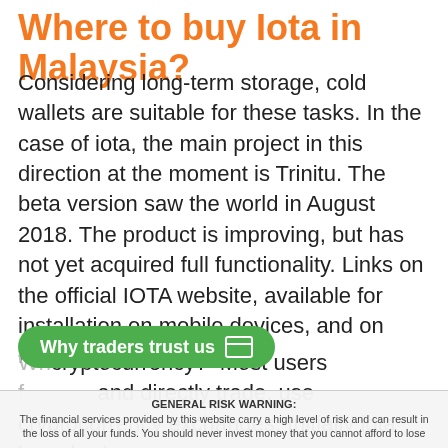Where to buy Iota in Malaysia?
Considering long-term storage, cold wallets are suitable for these tasks. In the case of iota, the main project in this direction at the moment is Trinitu. The beta version saw the world in August 2018. The product is improving, but has not yet acquired full functionality. Links on the official IOTA website, available for installation on mobile devices, and on PCs.
Why traders trust us [button]
cryptocurrency? Most users ... and directly trade, use cryptocurrency exchanges. Initially iota launched on just two, but now the choice is noticeably wider. The largest volume of a ... is on the cryptocurrency exchange Binance, and finances some...
GENERAL RISK WARNING: The financial services provided by this website carry a high level of risk and can result in the loss of all your funds. You should never invest money that you cannot afford to lose